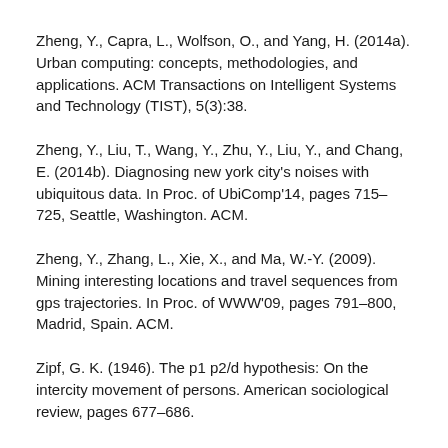Zheng, Y., Capra, L., Wolfson, O., and Yang, H. (2014a). Urban computing: concepts, methodologies, and applications. ACM Transactions on Intelligent Systems and Technology (TIST), 5(3):38.
Zheng, Y., Liu, T., Wang, Y., Zhu, Y., Liu, Y., and Chang, E. (2014b). Diagnosing new york city's noises with ubiquitous data. In Proc. of UbiComp'14, pages 715–725, Seattle, Washington. ACM.
Zheng, Y., Zhang, L., Xie, X., and Ma, W.-Y. (2009). Mining interesting locations and travel sequences from gps trajectories. In Proc. of WWW'09, pages 791–800, Madrid, Spain. ACM.
Zipf, G. K. (1946). The p1 p2/d hypothesis: On the intercity movement of persons. American sociological review, pages 677–686.